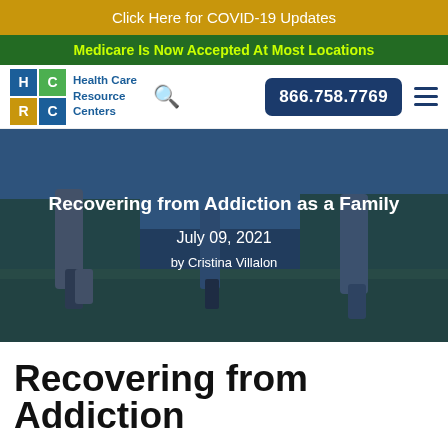Click Here for COVID-19 Updates
Medicare Is Now Accepted At Most Locations
[Figure (logo): Health Care Resource Centers logo with HCRC grid and text]
[Figure (photo): Hero image of family walking on grass with overlay text: Recovering from Addiction as a Family, July 09, 2021, by Cristina Villalon]
Recovering from Addiction